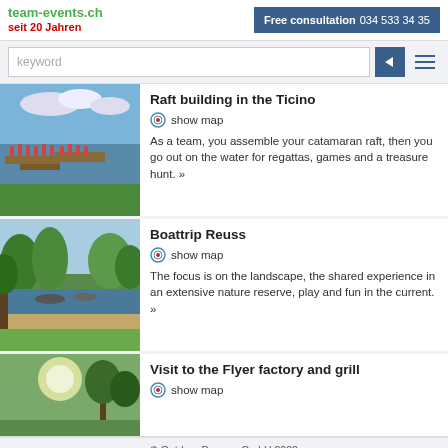team-events.ch seit 20 Jahren | Free consultation 034 533 34 35
keyword (search input)
Raft building in the Ticino
show map
As a team, you assemble your catamaran raft, then you go out on the water for regattas, games and a treasure hunt. »
Boattrip Reuss
show map
The focus is on the landscape, the shared experience in an extensive nature reserve, play and fun in the current. »
Visit to the Flyer factory and grill
show map
© Outdoor Dreams GmbH 2022
Contact | Disclaimer | artisten.ch | seminarlocations.ch